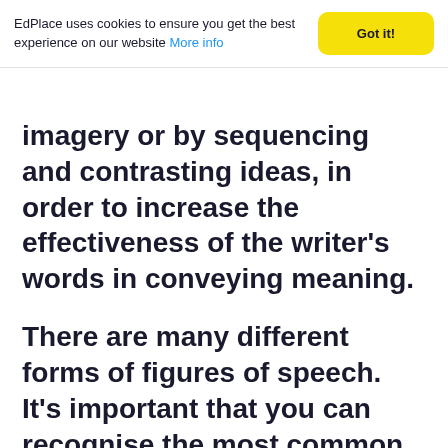EdPlace uses cookies to ensure you get the best experience on our website More info
imagery or by sequencing and contrasting ideas, in order to increase the effectiveness of the writer's words in conveying meaning.
There are many different forms of figures of speech. It's important that you can recognise the most common ones so that you can demonstrate your knowledge and understanding when you are discussing a piece of writing. We are going to take a look at various figures of speech and then